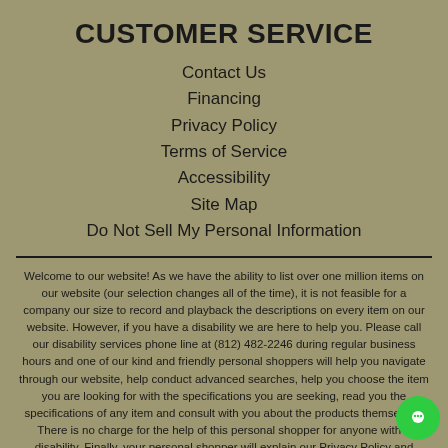CUSTOMER SERVICE
Contact Us
Financing
Privacy Policy
Terms of Service
Accessibility
Site Map
Do Not Sell My Personal Information
Welcome to our website! As we have the ability to list over one million items on our website (our selection changes all of the time), it is not feasible for a company our size to record and playback the descriptions on every item on our website. However, if you have a disability we are here to help you. Please call our disability services phone line at (812) 482-2246 during regular business hours and one of our kind and friendly personal shoppers will help you navigate through our website, help conduct advanced searches, help you choose the item you are looking for with the specifications you are seeking, read you the specifications of any item and consult with you about the products themselves. There is no charge for the help of this personal shopper for anyone with a disability. Finally, your personal shopper will explain our Privacy Policy and Terms of Service, and help you place an order if you so desire.